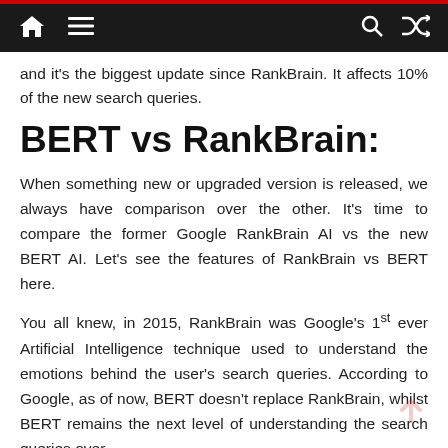Navigation bar with home, menu, search, and shuffle icons
and it's the biggest update since RankBrain. It affects 10% of the new search queries.
BERT vs RankBrain:
When something new or upgraded version is released, we always have comparison over the other. It's time to compare the former Google RankBrain AI vs the new BERT AI. Let's see the features of RankBrain vs BERT here.
You all knew, in 2015, RankBrain was Google's 1st ever Artificial Intelligence technique used to understand the emotions behind the user's search queries. According to Google, as of now, BERT doesn't replace RankBrain, whilst BERT remains the next level of understanding the search queries over…